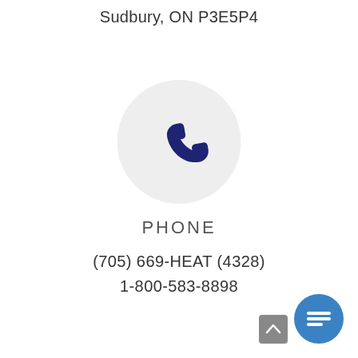Sudbury, ON P3E5P4
[Figure (illustration): A circular light gray background with a dark navy blue phone handset icon centered within it.]
PHONE
(705) 669-HEAT (4328)
1-800-583-8898
[Figure (other): A blue circular chat/message button in the bottom right corner, containing a white speech bubble icon with horizontal lines.]